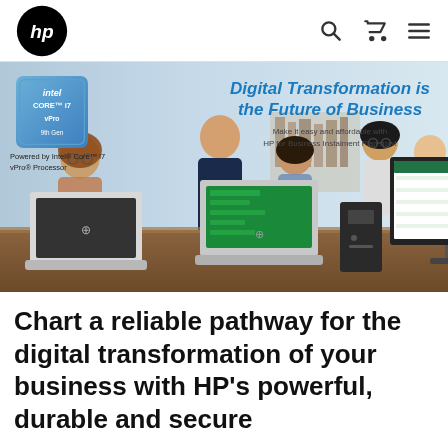[Figure (logo): HP logo (circular black logo with white hp letters) in top-left navigation bar]
[Figure (infographic): HP banner advertisement showing 'Digital Transformation is the Future of Business' headline in blue text, Intel Core i7 vPro 9th Gen badge on left, subtitle 'Make it easy and affordable with HP for Business Instalment Plan now!', background shows students/workers collaborating over HP laptops and desktop computer with monitor displaying Excel spreadsheet. HP laptops and desktop visible in foreground on a wooden desk.]
Chart a reliable pathway for the digital transformation of your business with HP's powerful, durable and secure